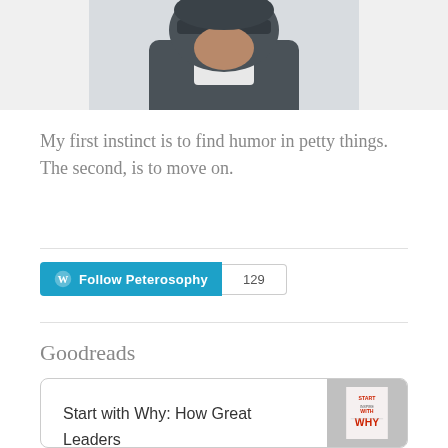[Figure (photo): Partial photo of a person wearing a cap and jacket, cropped at the top of the page]
My first instinct is to find humor in petty things. The second, is to move on.
Follow Peterosophy  129
Goodreads
Start with Why: How Great Leaders Inspire Everyone to Take Action